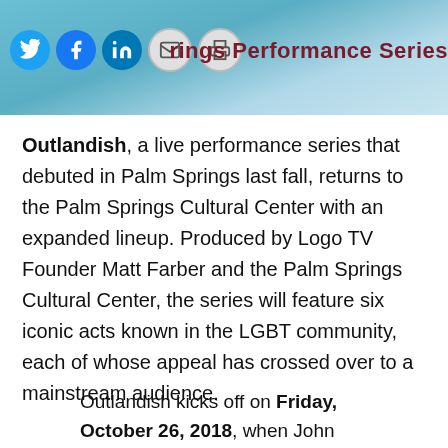[Figure (screenshot): Header banner with teal/blue background showing social media share icons (Twitter, Facebook, LinkedIn, Email, Print) and partial text 'rings Performance Series' in dark red on the right]
Outlandish, a live performance series that debuted in Palm Springs last fall, returns to the Palm Springs Cultural Center with an expanded lineup. Produced by Logo TV Founder Matt Farber and the Palm Springs Cultural Center, the series will feature six iconic acts known in the LGBT community, each of whose appeal has crossed over to a mainstream audience.
Outlandish kicks off on Friday, October 26, 2018, when John